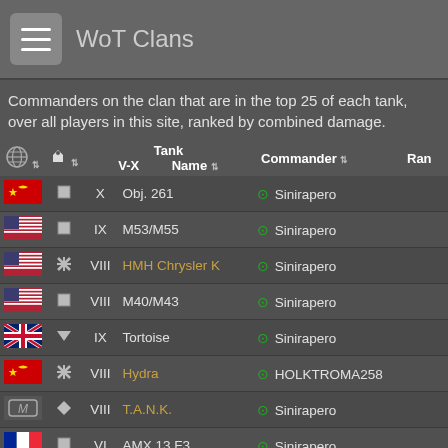WoT Clans
Commanders on the clan that are in the top 25 of each tank, over all players in this site, ranked by combined damage.
| Nation | Type | Tank V-X | Name | Commander | Rank |
| --- | --- | --- | --- | --- | --- |
| USSR | □ | X | Obj. 261 | Sinirapero |  |
| USA | □ | IX | M53/M55 | Sinirapero |  |
| USA | ◈ | VIII | HMH Chrysler K | Sinirapero |  |
| USA | □ | VIII | M40/M43 | Sinirapero |  |
| UK | ▽ | IX | Tortoise | Sinirapero |  |
| USSR | ◈ | VIII | Hydra | HOLKTROMA258 |  |
| M | ◆ | VIII | T.A.N.K. | Sinirapero |  |
| France | □ | VI | AMX 13 F3 | Sinirapero |  |
| Germany | ◈ | VII | VK 45.03 | Almje Rogue 5 |  |
| Germany | ◈ | X | Pz.Kpfw. VII | HOLKTROMA258 |  |
| Germany | ◈ | IX | VK 45.02 B | SantiTK |  |
| Czech | ◈ | VIII | Ragnarok | Sinirapero |  |
| Germany | ▽ | IX | Jagdtiger | SantiTK |  |
| USSR | ◈ | VIII | KV-5 | AgustinMilitar |  |
| Italy | ◈ | X | Rinoceronte | HOLKTROMA258 |  |